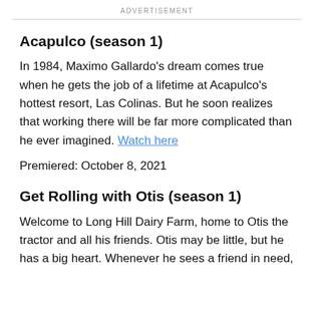ADVERTISEMENT
Acapulco (season 1)
In 1984, Maximo Gallardo's dream comes true when he gets the job of a lifetime at Acapulco's hottest resort, Las Colinas. But he soon realizes that working there will be far more complicated than he ever imagined. Watch here
Premiered: October 8, 2021
Get Rolling with Otis (season 1)
Welcome to Long Hill Dairy Farm, home to Otis the tractor and all his friends. Otis may be little, but he has a big heart. Whenever he sees a friend in need,